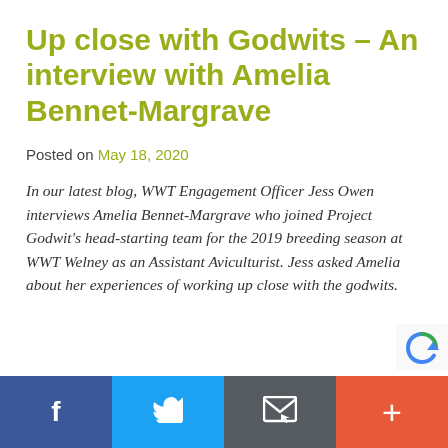Up close with Godwits – An interview with Amelia Bennet-Margrave
Posted on May 18, 2020
In our latest blog, WWT Engagement Officer Jess Owen interviews Amelia Bennet-Margrave who joined Project Godwit's head-starting team for the 2019 breeding season at WWT Welney as an Assistant Aviculturist. Jess asked Amelia about her experiences of working up close with the godwits.
Facebook | Twitter | Email | Plus